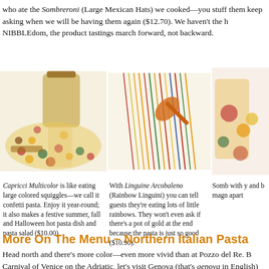who ate the Sombreroni (Large Mexican Hats) we cooked—you stuff them keep asking when we will be having them again ($12.70). We haven't the h NIBBLEdom, the product tastings march forward, not backward.
[Figure (photo): Colorful multicolor pasta (Capricci Multicolor) spilling from a jar and a tube container on a white background]
[Figure (photo): Rainbow linguini (Linguine Arcobaleno) long colorful strands arranged on a white background with an orange wooden utensil]
[Figure (photo): Partial view of another pasta product (Sombreroni) on white background]
Capricci Multicolor is like eating large colored squiggles—we call it confetti pasta. Enjoy it year-round; it also makes a festive summer, fall and Halloween hot pasta dish and pasta salad ($10.00).
With Linguine Arcobaleno (Rainbow Linguini) you can tell guests they're eating lots of little rainbows. They won't even ask if there's a pot of gold at the end because the pasta is just so good ($10.90).
Somb with y and b magn apart
More On The Menu ~ Northern Italian Pasta
Head north and there's more color—even more vivid than at Pozzo del Re. B Carnival of Venice on the Adriatic, let's visit Genova (that's genova in English) on t sailors including Christopher Columbus.